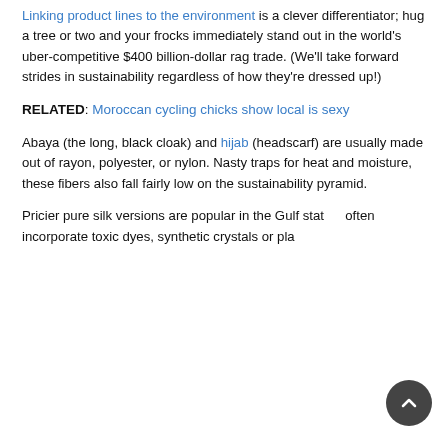Linking product lines to the environment is a clever differentiator; hug a tree or two and your frocks immediately stand out in the world's uber-competitive $400 billion-dollar rag trade. (We'll take forward strides in sustainability regardless of how they're dressed up!)
RELATED: Moroccan cycling chicks show local is sexy
Abaya (the long, black cloak) and hijab (headscarf) are usually made out of rayon, polyester, or nylon. Nasty traps for heat and moisture, these fibers also fall fairly low on the sustainability pyramid.
Pricier pure silk versions are popular in the Gulf states, often incorporate toxic dyes, synthetic crystals or pla…